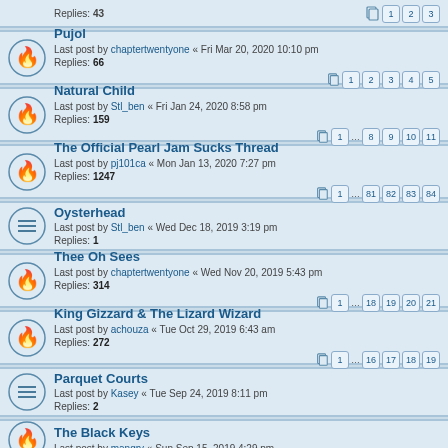Replies: 43 | pages 1 2 3
Pujol
Last post by chaptertwentyone « Fri Mar 20, 2020 10:10 pm
Replies: 66 | pages 1 2 3 4 5
Natural Child
Last post by Stl_ben « Fri Jan 24, 2020 8:58 pm
Replies: 159 | pages 1 ... 8 9 10 11
The Official Pearl Jam Sucks Thread
Last post by pj101ca « Mon Jan 13, 2020 7:27 pm
Replies: 1247 | pages 1 ... 81 82 83 84
Oysterhead
Last post by Stl_ben « Wed Dec 18, 2019 3:19 pm
Replies: 1
Thee Oh Sees
Last post by chaptertwentyone « Wed Nov 20, 2019 5:43 pm
Replies: 314 | pages 1 ... 18 19 20 21
King Gizzard & The Lizard Wizard
Last post by achouza « Tue Oct 29, 2019 6:43 am
Replies: 272 | pages 1 ... 16 17 18 19
Parquet Courts
Last post by Kasey « Tue Sep 24, 2019 8:11 pm
Replies: 2
The Black Keys
Last post by mangry « Sun Sep 15, 2019 4:29 pm